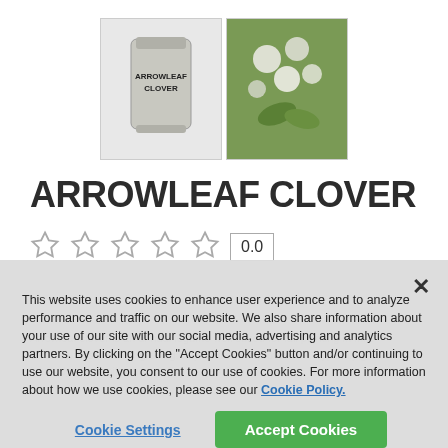[Figure (photo): Two product thumbnail images: a bag of Arrowleaf Clover seed and a photo of arrowleaf clover plant with white flowers]
ARROWLEAF CLOVER
☆☆☆☆☆  0.0
This website uses cookies to enhance user experience and to analyze performance and traffic on our website. We also share information about your use of our site with our social media, advertising and analytics partners. By clicking on the "Accept Cookies" button and/or continuing to use our website, you consent to our use of cookies. For more information about how we use cookies, please see our Cookie Policy.
Cookie Settings   Accept Cookies